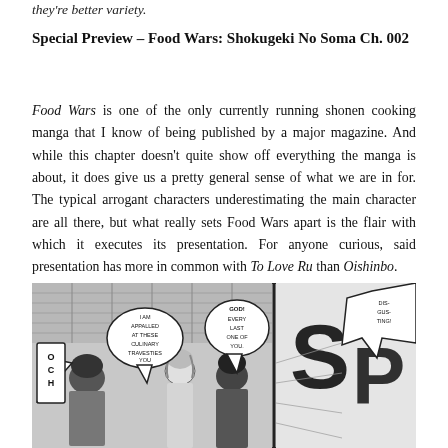they're better variety.
Special Preview – Food Wars: Shokugeki No Soma Ch. 002
Food Wars is one of the only currently running shonen cooking manga that I know of being published by a major magazine. And while this chapter doesn't quite show off everything the manga is about, it does give us a pretty general sense of what we are in for. The typical arrogant characters underestimating the main character are all there, but what really sets Food Wars apart is the flair with which it executes its presentation. For anyone curious, said presentation has more in common with To Love Ru than Oishinbo.
[Figure (illustration): Manga panel from Food Wars: Shokugeki No Soma showing characters in a kitchen/restaurant setting with speech bubbles reading 'OCH', 'I AM APPALLED AT THESE CULINARY TRAVESTIES YOU PRESENTED TO ME.', 'GOD! EVERY LAST ONE OF YOU.', 'DISGUSTING!' and partial letters 'S', 'P']